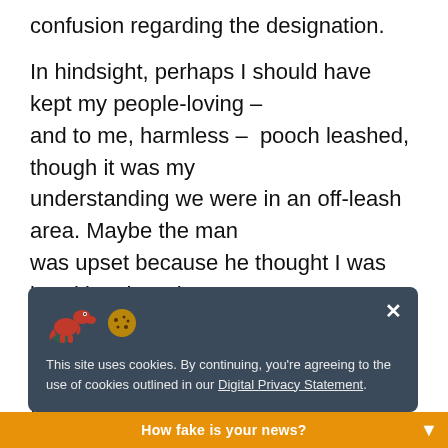confusion regarding the designation.

In hindsight, perhaps I should have kept my people-loving – and to me, harmless – pooch leashed, though it was my understanding we were in an off-leash area. Maybe the man was upset because he thought I was breaking the rules. Maybe he thought my Chihuahua posed a threat.

I called the dog back to me, she came, he moved on and so did we. Still, it was an unsettling encounter for both of us. Which illustrates the need for balanced policy and informative education that leads, we would hope, to reasonable actions from both pet owners and non-owners
This site uses cookies. By continuing, you're agreeing to the use of cookies outlined in our Digital Privacy Statement.
How fake is your news?